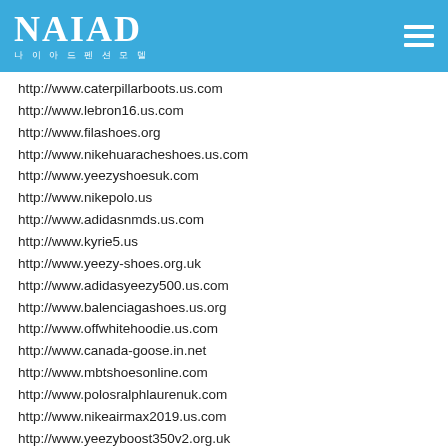NAIAD 나이아드펜션모델
http://www.caterpillarboots.us.com
http://www.lebron16.us.com
http://www.filashoes.org
http://www.nikehuaracheshoes.us.com
http://www.yeezyshoesuk.com
http://www.nikepolo.us
http://www.adidasnmds.us.com
http://www.kyrie5.us
http://www.yeezy-shoes.org.uk
http://www.adidasyeezy500.us.com
http://www.balenciagashoes.us.org
http://www.offwhitehoodie.us.com
http://www.canada-goose.in.net
http://www.mbtshoesonline.com
http://www.polosralphlaurenuk.com
http://www.nikeairmax2019.us.com
http://www.yeezyboost350v2.org.uk
http://www.lebron16.us
http://www.jordan13.us.com